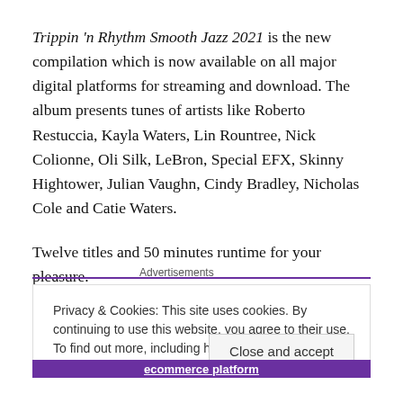Trippin 'n Rhythm Smooth Jazz 2021 is the new compilation which is now available on all major digital platforms for streaming and download. The album presents tunes of artists like Roberto Restuccia, Kayla Waters, Lin Rountree, Nick Colionne, Oli Silk, LeBron, Special EFX, Skinny Hightower, Julian Vaughn, Cindy Bradley, Nicholas Cole and Catie Waters.
Twelve titles and 50 minutes runtime for your pleasure.
Advertisements
Privacy & Cookies: This site uses cookies. By continuing to use this website, you agree to their use. To find out more, including how to control cookies, see here: Cookie Policy
Close and accept
ecommerce platform